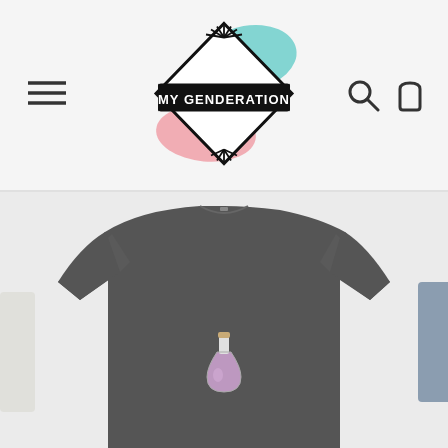[Figure (logo): My Genderation logo — diamond shape with paintbrush strokes in teal and pink, text 'MY GENDERATION' on a banner inside the diamond, with radiating lines at top]
[Figure (illustration): Hamburger menu icon (three horizontal lines) on the left side of the header]
[Figure (illustration): Search icon and shopping bag icon on the right side of the header]
[Figure (photo): Dark grey/charcoal t-shirt with a small flask/potion bottle graphic on the chest, shown on a white background. Partially visible alternative color swatch on the right edge.]